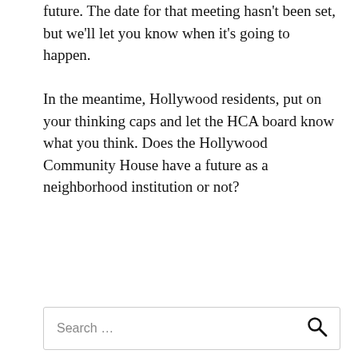future. The date for that meeting hasn't been set, but we'll let you know when it's going to happen.
In the meantime, Hollywood residents, put on your thinking caps and let the HCA board know what you think. Does the Hollywood Community House have a future as a neighborhood institution or not?
[Figure (infographic): Growing Community Media banner advertisement. Green background with tree logo, text 'Building a blended model of advertising, reader revenue, local philanthropy and foundation and corporate support to create a sustaining path for the next generation of community journalism.' and a white Donate today. button.]
Search …